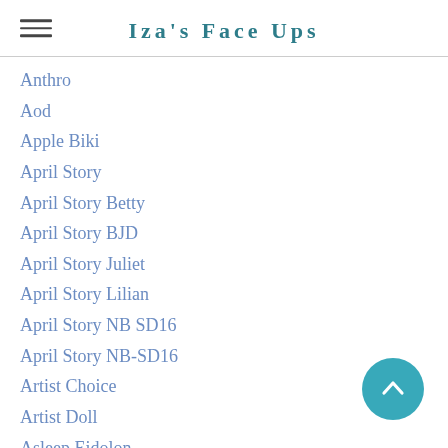Iza's Face Ups
Anthro
Aod
Apple Biki
April Story
April Story Betty
April Story BJD
April Story Juliet
April Story Lilian
April Story NB SD16
April Story NB-SD16
Artist Choice
Artist Doll
Asleep Eidolon
Asleep Eidolon Agnes
Asleep Eidolon Col
Asleep Eidolon Peppermint
Atelier Momoni